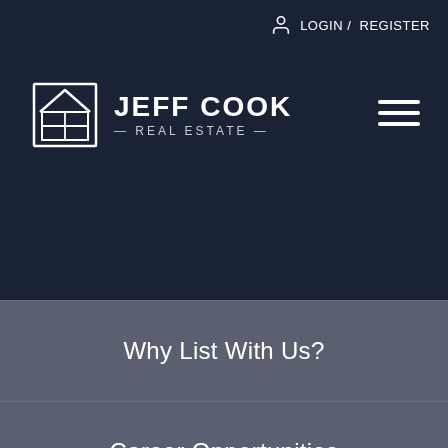LOGIN / REGISTER
[Figure (logo): Jeff Cook Real Estate logo with house icon and text]
Why List With Us?
Career Opportunities
Search 2,742 Listings →
Home > Blog > Buying a Home